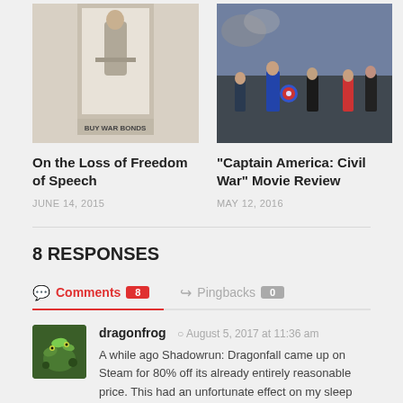[Figure (photo): Book/film poster image for Freedom of Speech / Buy War Bonds]
On the Loss of Freedom of Speech
JUNE 14, 2015
[Figure (photo): Captain America Civil War movie action scene]
"Captain America: Civil War" Movie Review
MAY 12, 2016
8 RESPONSES
Comments 8   Pingbacks 0
dragonfrog  August 5, 2017 at 11:36 am
A while ago Shadowrun: Dragonfall came up on Steam for 80% off its already entirely reasonable price. This had an unfortunate effect on my sleep habits for the next couple of weeks. I just finished the game the other day. Maybe I'll do a proper write-up later, but in the meantime, it...